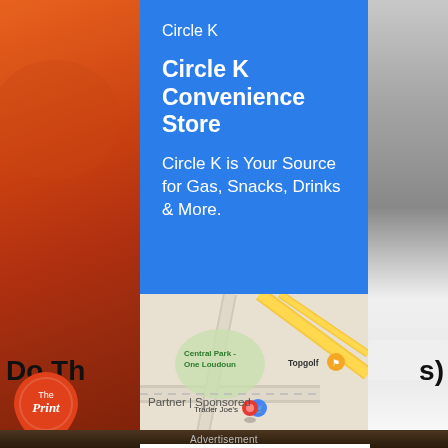[Figure (screenshot): Left partial photo strip showing orange/rust colored object, partially cropped]
Circle K
Circle K Convenience Store
Circle K is Your Source for Gas, Snacks, Drinks & More.
[Figure (map): Google Maps view showing Central Park - One Loudoun, Topgolf, and Trader Joe's locations]
[Figure (screenshot): Right partial photo strip showing person in grey shirt with white sneakers, partially cropped]
Do Th
s)
[Figure (logo): The Print logo - orange circle with map pin shape, white text 'The Print']
Partner | Sponsored
Advertisement
Senszio
Bespoke Suits Available
BOOK NOW